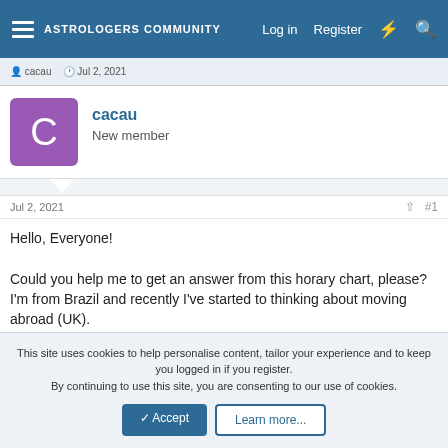ASTROLOGERS COMMUNITY — Log in  Register
cacau · Jul 2, 2021
cacau
New member
Jul 2, 2021  #1
Hello, Everyone!

Could you help me to get an answer from this horary chart, please?
I'm from Brazil and recently I've started to thinking about moving abroad (UK).
Important to tell that i didn't even started the process. Its just in the mind for now.
This site uses cookies to help personalise content, tailor your experience and to keep you logged in if you register.
By continuing to use this site, you are consenting to our use of cookies.
✓ Accept   Learn more...